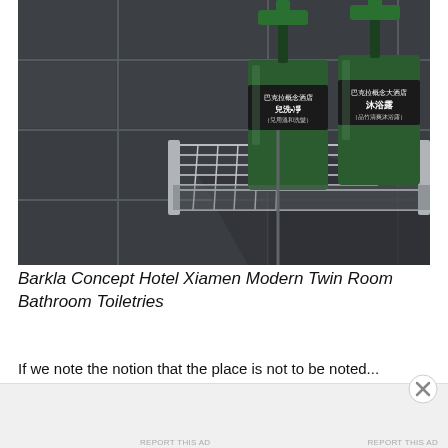[Figure (photo): A bathroom corner shelf (chrome/silver metal wire rack) mounted in a tiled shower corner, holding two green pump-top soap/shampoo bottles with Chinese label text. Dark gray tiles visible in background with grout lines.]
Barkla Concept Hotel Xiamen Modern Twin Room Bathroom Toiletries
If we note the notion that the place is not to be noted...